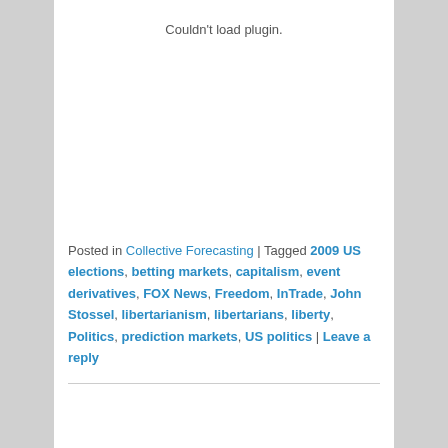[Figure (other): Plugin embed area showing 'Couldn't load plugin.' message]
Posted in Collective Forecasting | Tagged 2009 US elections, betting markets, capitalism, event derivatives, FOX News, Freedom, InTrade, John Stossel, libertarianism, libertarians, liberty, Politics, prediction markets, US politics | Leave a reply